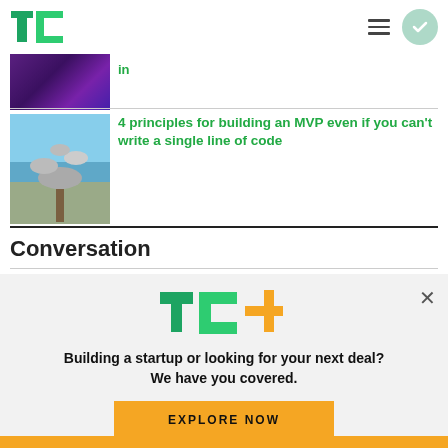TechCrunch navigation bar with TC logo, hamburger menu, and circle checkmark button
[Figure (screenshot): Purple/dark thumbnail image (partially cropped at top)]
in
[Figure (photo): Balanced stones on a post with ocean background]
4 principles for building an MVP even if you can't write a single line of code
Conversation
[Figure (logo): TC+ logo with green TC letters and orange plus sign]
Building a startup or looking for your next deal? We have you covered.
EXPLORE NOW